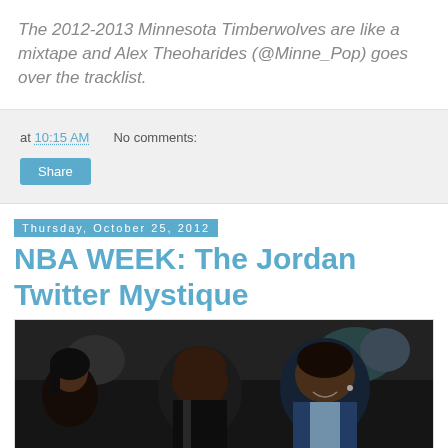The 2012-2013 Minnesota Timberwolves are like a mixtape and Alex Theoharides (@Minne_Pop) goes over the tracklist.
at 10:15 AM   No comments:
Share
Thursday, October 25, 2012
NBA WEEK: The Jordan Twitter Mystique
[Figure (photo): Two men in suits sitting courtside at an NBA game, appearing to be in conversation. A woman is visible on the left side.]